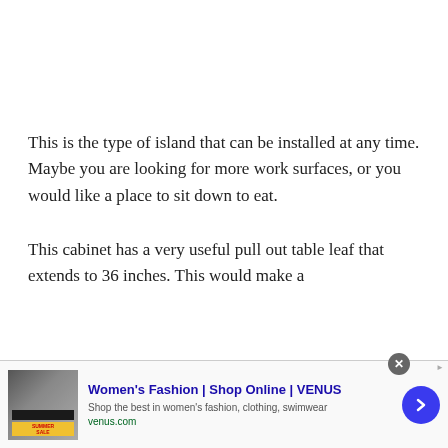This is the type of island that can be installed at any time. Maybe you are looking for more work surfaces, or you would like a place to sit down to eat.
This cabinet has a very useful pull out table leaf that extends to 36 inches. This would make a
[Figure (screenshot): Advertisement banner for Women's Fashion at VENUS (venus.com). Shows a thumbnail image of a fashion sale advertisement, the text 'Women's Fashion | Shop Online | VENUS', subtext 'Shop the best in women's fashion, clothing, swimwear', URL 'venus.com', a close button (X), an ad label, and a blue circular arrow button.]